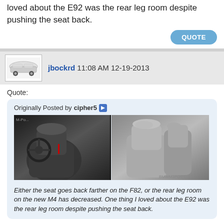loved about the E92 was the rear leg room despite pushing the seat back.
QUOTE
jbockrd 11:08 AM 12-19-2013
Quote:
Originally Posted by cipher5
[Figure (photo): Two side-by-side interior photos of BMW car seats (F82 M4 vs E92 M3), showing front seats and rear legroom.]
Either the seat goes back farther on the F82, or the rear leg room on the new M4 has decreased. One thing I loved about the E92 was the rear leg room despite pushing the seat back.